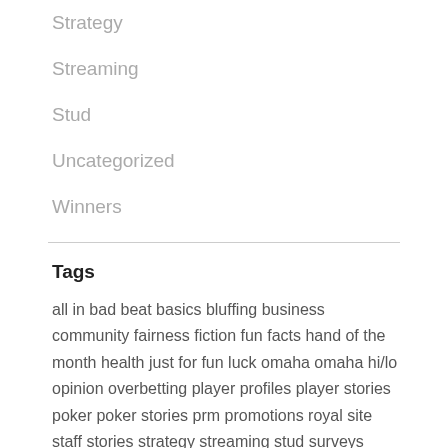Strategy
Streaming
Stud
Uncategorized
Winners
Tags
all in bad beat basics bluffing business community fairness fiction fun facts hand of the month health just for fun luck omaha omaha hi/lo opinion overbetting player profiles player stories poker poker stories prm promotions royal site staff stories strategy streaming stud surveys team championships tournament points volunteers winners youtube